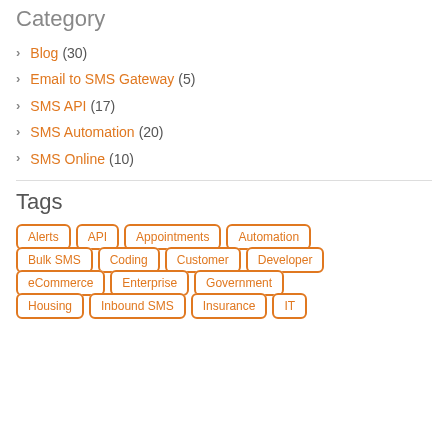Category
Blog (30)
Email to SMS Gateway (5)
SMS API (17)
SMS Automation (20)
SMS Online (10)
Tags
Alerts
API
Appointments
Automation
Bulk SMS
Coding
Customer
Developer
eCommerce
Enterprise
Government
Housing
Inbound SMS
Insurance
IT